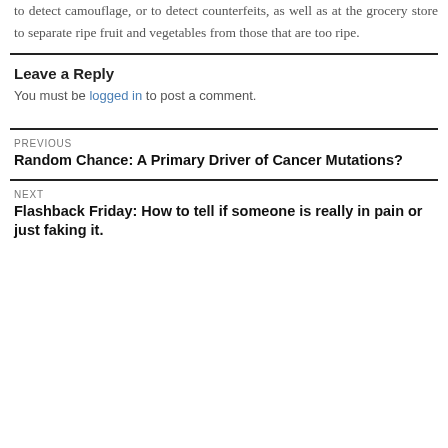to detect camouflage, or to detect counterfeits, as well as at the grocery store to separate ripe fruit and vegetables from those that are too ripe.
Leave a Reply
You must be logged in to post a comment.
PREVIOUS
Random Chance: A Primary Driver of Cancer Mutations?
NEXT
Flashback Friday: How to tell if someone is really in pain or just faking it.